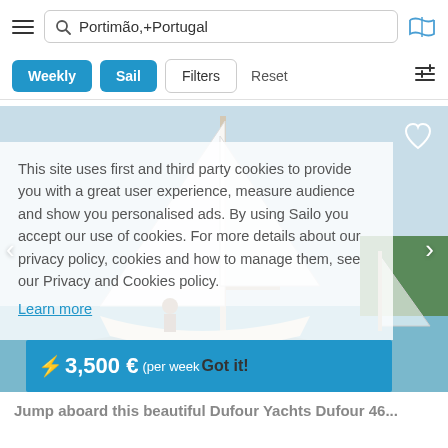Portimão,+Portugal
Weekly  Sail  Filters  Reset
[Figure (screenshot): Sailing yacht photo with cookie consent overlay and price bar showing 3,500 € per week. Cookie notice reads: This site uses first and third party cookies to provide you with a great user experience, measure audience and show you personalised ads. By using Sailo you accept our use of cookies. For more details about our privacy policy, cookies and how to manage them, see our Privacy and Cookies policy. Learn more. Got it!]
Jump aboard this beautiful Dufour Yachts Dufour 46...